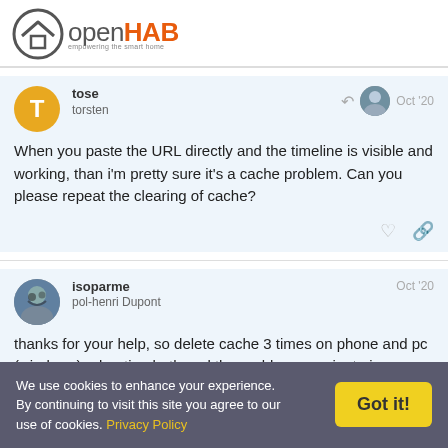[Figure (logo): openHAB logo with house icon and tagline 'empowering the smart home']
tose
torsten
Oct '20
When you paste the URL directly and the timeline is visible and working, than i'm pretty sure it's a cache problem. Can you please repeat the clearing of cache?
isoparme
pol-henri Dupont
Oct '20
thanks for your help, so delete cache 3 times on phone and pc (windows) rebooting both and the problem remain, trying on
We use cookies to enhance your experience. By continuing to visit this site you agree to our use of cookies. Privacy Policy
Got it!